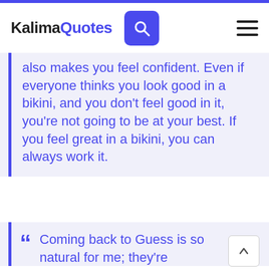KalimaQuotes
also makes you feel confident. Even if everyone thinks you look good in a bikini, and you don't feel good in it, you're not going to be at your best. If you feel great in a bikini, you can always work it.
Coming back to Guess is so natural for me; they're